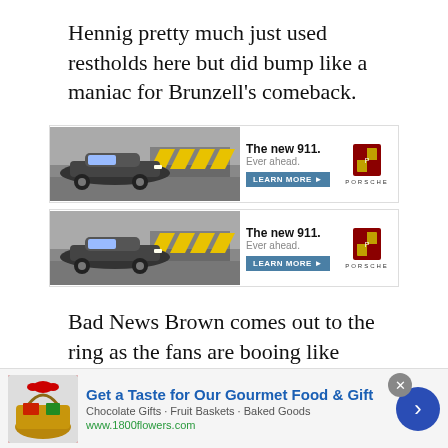Hennig pretty much just used restholds here but did bump like a maniac for Brunzell's comeback.
[Figure (photo): Two stacked Porsche banner advertisements, each showing a Porsche 911 car on road with yellow chevron barriers, text 'The new 911. Ever ahead.' with LEARN MORE button and Porsche crest logo.]
Bad News Brown comes out to the ring as the fans are booing like crazy. He then tells them their hero, Hulk Hogan, is going to get beat from pillar to post, just like the San Francisco 49ers did to the New York Giants earlier that day. This crowd hated Bad News, who was a
[Figure (infographic): Bottom advertisement banner: 'Get a Taste for Our Gourmet Food & Gift' from 1800flowers.com. Shows gift basket image, text 'Chocolate Gifts - Fruit Baskets - Baked Goods' and 'www.1800flowers.com'. Has close button and blue arrow navigation button.]